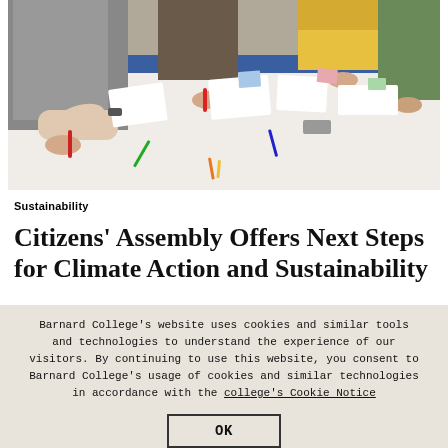[Figure (photo): People leaning over a white table, collaborating and writing/drawing with markers and pens. Blue tablecloth visible. Multiple participants including someone in a yellow hoodie and green jacket.]
Sustainability
Citizens' Assembly Offers Next Steps for Climate Action and Sustainability
Barnard College's website uses cookies and similar tools and technologies to understand the experience of our visitors. By continuing to use this website, you consent to Barnard College's usage of cookies and similar technologies in accordance with the college's Cookie Notice